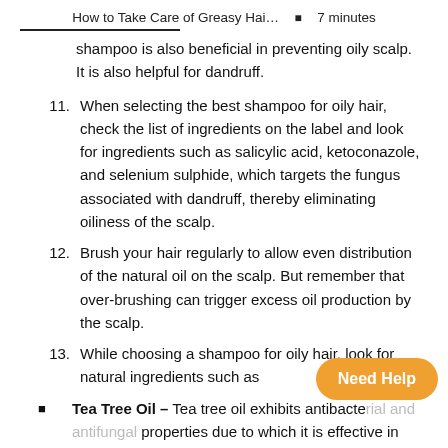How to Take Care of Greasy Hai… ▪ 7 minutes
shampoo is also beneficial in preventing oily scalp. It is also helpful for dandruff.
11. When selecting the best shampoo for oily hair, check the list of ingredients on the label and look for ingredients such as salicylic acid, ketoconazole, and selenium sulphide, which targets the fungus associated with dandruff, thereby eliminating oiliness of the scalp.
12. Brush your hair regularly to allow even distribution of the natural oil on the scalp. But remember that over-brushing can trigger excess oil production by the scalp.
13. While choosing a shampoo for oily hair, look for natural ingredients such as
Tea Tree Oil – Tea tree oil exhibits antibacterial and antifungal properties due to which it is effective in treating dandruff. It